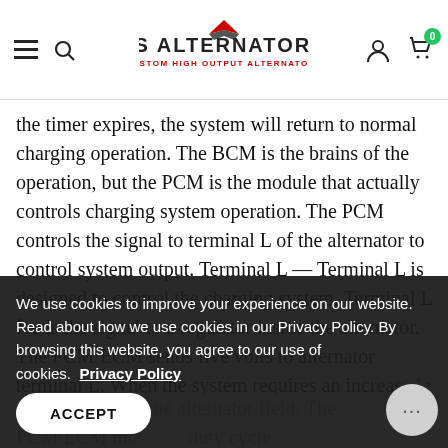JS Alternators - Custom High Output Alternators
the timer expires, the system will return to normal charging operation. The BCM is the brains of the operation, but the PCM is the module that actually controls charging system operation. The PCM controls the signal to terminal L of the alternator to control system output. Terminal L — Terminal L is designed to control the charging system. Terminal L feeds the signal to a regulator inside the alternator. The PCM/ECM sends five volts to alternator terminal L. When the system requires an increase in output, the PCM/ECM will change the circuit duty cycle, which will cause the regulator to change the voltage set point. The duty cycle can range from 10% to as high as 90%, with the higher duty cycle creating a higher voltage charging rate. If an open ... the operation of the alternator field. The PCM/ECM monitors duty cycle ... determine the load the alternator is placing on the engine. They also use this input for idle speed control and the ...
We use cookies to improve your experience on our website. Read about how we use cookies in our Privacy Policy. By browsing this website, you agree to our use of cookies.  Privacy Policy ACCEPT